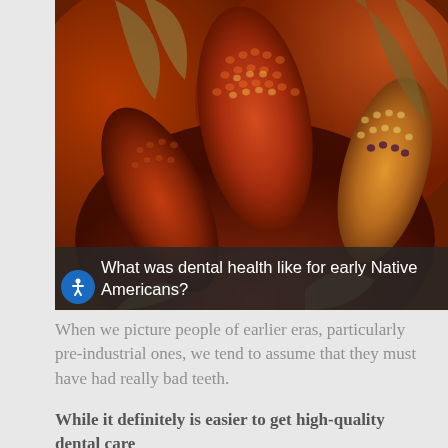[Figure (photo): Close-up photograph of colorful Native American corn (Indian corn/flint corn) with multiple ears showing red, orange, brown, yellow, and dark kernels arranged together with dried husks visible.]
What was dental health like for early Native Americans?
When we picture people of earlier eras, particularly pre-industrial ones, we tend to assume that they must have had really bad teeth.
While it definitely is easier to get high-quality dental care